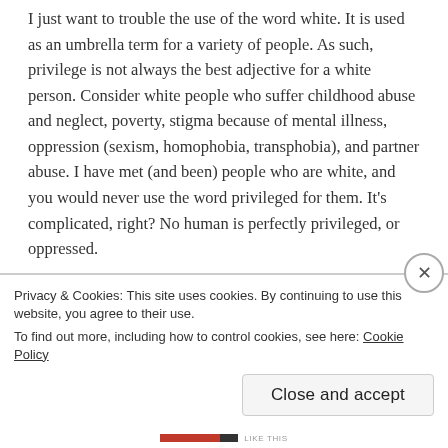I just want to trouble the use of the word white. It is used as an umbrella term for a variety of people. As such, privilege is not always the best adjective for a white person. Consider white people who suffer childhood abuse and neglect, poverty, stigma because of mental illness, oppression (sexism, homophobia, transphobia), and partner abuse. I have met (and been) people who are white, and you would never use the word privileged for them. It's complicated, right? No human is perfectly privileged, or oppressed.
I pray that you easily and effortlessly shine your innate
Privacy & Cookies: This site uses cookies. By continuing to use this website, you agree to their use. To find out more, including how to control cookies, see here: Cookie Policy
Close and accept